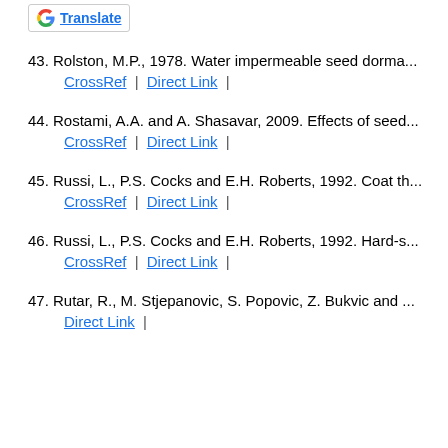[Figure (logo): Google Translate button with G logo and underlined 'Translate' text]
43. Rolston, M.P., 1978. Water impermeable seed dorma... CrossRef | Direct Link |
44. Rostami, A.A. and A. Shasavar, 2009. Effects of seed... CrossRef | Direct Link |
45. Russi, L., P.S. Cocks and E.H. Roberts, 1992. Coat th... CrossRef | Direct Link |
46. Russi, L., P.S. Cocks and E.H. Roberts, 1992. Hard-s... CrossRef | Direct Link |
47. Rutar, R., M. Stjepanovic, S. Popovic, Z. Bukvic and... Direct Link |